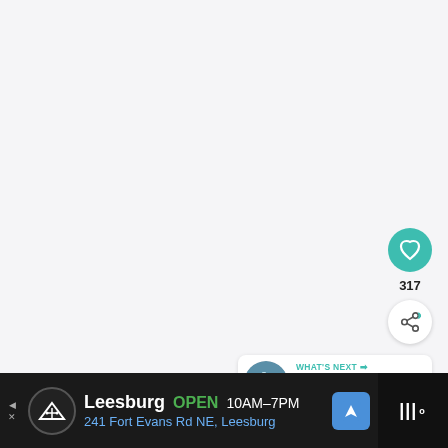[Figure (screenshot): Light gray content area (main page background, mostly blank/empty)]
[Figure (infographic): Teal circular heart/like button showing heart icon]
317
[Figure (infographic): White circular share button with share icon]
[Figure (infographic): WHAT'S NEXT panel with thumbnail of cruise ship and text 'All U.S. Cruises...']
[Figure (screenshot): Advertisement bar: Leesburg OPEN 10AM-7PM 241 Fort Evans Rd NE, Leesburg with logo and navigation icon]